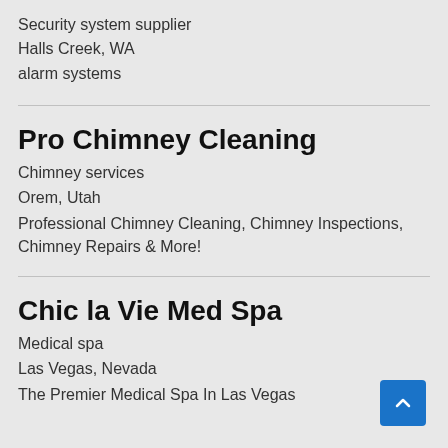Security system supplier
Halls Creek, WA
alarm systems
Pro Chimney Cleaning
Chimney services
Orem, Utah
Professional Chimney Cleaning, Chimney Inspections, Chimney Repairs & More!
Chic la Vie Med Spa
Medical spa
Las Vegas, Nevada
The Premier Medical Spa In Las Vegas